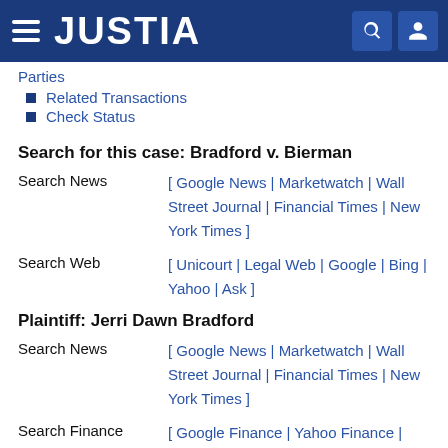JUSTIA
Related Transactions
Check Status
Search for this case: Bradford v. Bierman
Search News [ Google News | Marketwatch | Wall Street Journal | Financial Times | New York Times ]
Search Web [ Unicourt | Legal Web | Google | Bing | Yahoo | Ask ]
Plaintiff: Jerri Dawn Bradford
Search News [ Google News | Marketwatch | Wall Street Journal | Financial Times | New York Times ]
Search Finance [ Google Finance | Yahoo Finance |